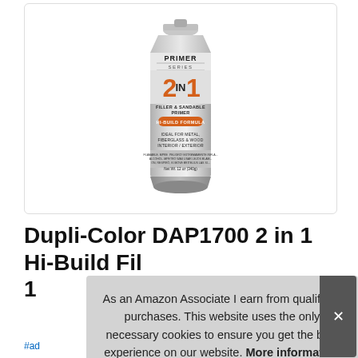[Figure (photo): Dupli-Color DAP1700 2 in 1 Hi-Build Filler & Sandable Primer spray can, gray can with orange '2 IN 1' branding, Primer Series label, Hi-Build Formula, Ideal for Metal Fiberglass & Wood Interior/Exterior, Net Wt. 12 oz (340g)]
Dupli-Color DAP1700 2 in 1 Hi-Build Fil... 1
As an Amazon Associate I earn from qualifying purchases. This website uses the only necessary cookies to ensure you get the best experience on our website. More information
#ad